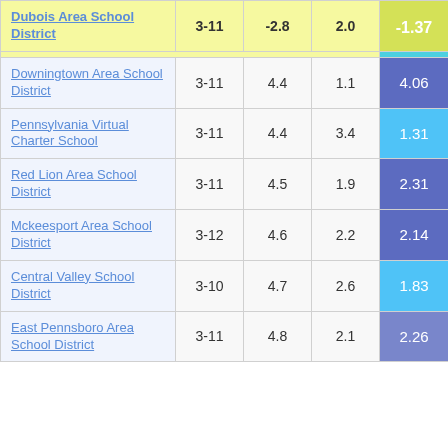| School District | Grades | Col3 | Col4 | Score |
| --- | --- | --- | --- | --- |
| Dubois Area School District | 3-11 | -2.8 | 2.0 | -1.37 |
| Downingtown Area School District | 3-11 | 4.4 | 1.1 | 4.06 |
| Pennsylvania Virtual Charter School | 3-11 | 4.4 | 3.4 | 1.31 |
| Red Lion Area School District | 3-11 | 4.5 | 1.9 | 2.31 |
| Mckeesport Area School District | 3-12 | 4.6 | 2.2 | 2.14 |
| Central Valley School District | 3-10 | 4.7 | 2.6 | 1.83 |
| East Pennsboro Area School District | 3-11 | 4.8 | 2.1 | 2.26 |